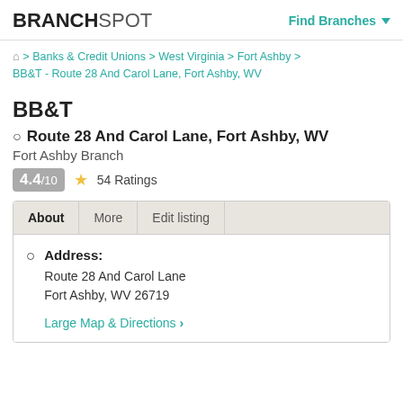BRANCHSPOT | Find Branches
🏠 > Banks & Credit Unions > West Virginia > Fort Ashby > BB&T - Route 28 And Carol Lane, Fort Ashby, WV
BB&T
Route 28 And Carol Lane, Fort Ashby, WV
Fort Ashby Branch
4.4/10 ★ 54 Ratings
About | More | Edit listing
Address: Route 28 And Carol Lane, Fort Ashby, WV 26719
Large Map & Directions >